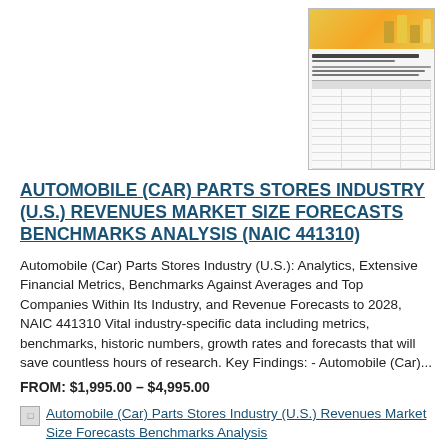[Figure (other): Thumbnail preview image of the report cover showing a trophy/bar chart icon and a table of financial data]
AUTOMOBILE (CAR) PARTS STORES INDUSTRY (U.S.) REVENUES MARKET SIZE FORECASTS BENCHMARKS ANALYSIS (NAIC 441310)
Automobile (Car) Parts Stores Industry (U.S.): Analytics, Extensive Financial Metrics, Benchmarks Against Averages and Top Companies Within Its Industry, and Revenue Forecasts to 2028, NAIC 441310 Vital industry-specific data including metrics, benchmarks, historic numbers, growth rates and forecasts that will save countless hours of research. Key Findings: - Automobile (Car)...
FROM: $1,995.00 – $4,995.00
[Figure (screenshot): Linked thumbnail image: Automobile (Car) Parts Stores Industry (U.S.) Revenues Market Size Forecasts Benchmarks Analysis]
Automobile (Car) Parts Stores Industry (U.S.) Revenues Market Size Forecasts Benchmarks Analysis